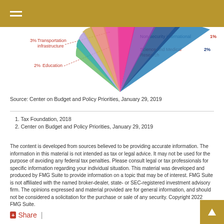[Figure (pie-chart): Partial pie chart visible showing segments including Transportation Infrastructure (3%), Education (2%), Non-security international (1%), Science and Medical Research (2%)]
Source: Center on Budget and Policy Priorities, January 29, 2019
1. Tax Foundation, 2018
2. Center on Budget and Policy Priorities, January 29, 2019
The content is developed from sources believed to be providing accurate information. The information in this material is not intended as tax or legal advice. It may not be used for the purpose of avoiding any federal tax penalties. Please consult legal or tax professionals for specific information regarding your individual situation. This material was developed and produced by FMG Suite to provide information on a topic that may be of interest. FMG Suite is not affiliated with the named broker-dealer, state- or SEC-registered investment advisory firm. The opinions expressed and material provided are for general information, and should not be considered a solicitation for the purchase or sale of any security. Copyright 2022 FMG Suite.